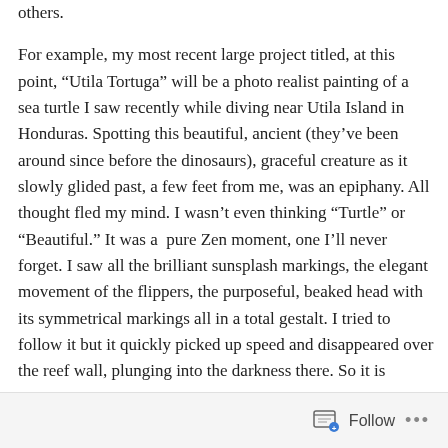others.
For example, my most recent large project titled, at this point, “Utila Tortuga” will be a photo realist painting of a sea turtle I saw recently while diving near Utila Island in Honduras. Spotting this beautiful, ancient (they’ve been around since before the dinosaurs), graceful creature as it slowly glided past, a few feet from me, was an epiphany. All thought fled my mind. I wasn’t even thinking “Turtle” or “Beautiful.” It was a  pure Zen moment, one I’ll never forget. I saw all the brilliant sunsplash markings, the elegant movement of the flippers, the purposeful, beaked head with its symmetrical markings all in a total gestalt. I tried to follow it but it quickly picked up speed and disappeared over the reef wall, plunging into the darkness there. So it is important to me to paint
Follow ···